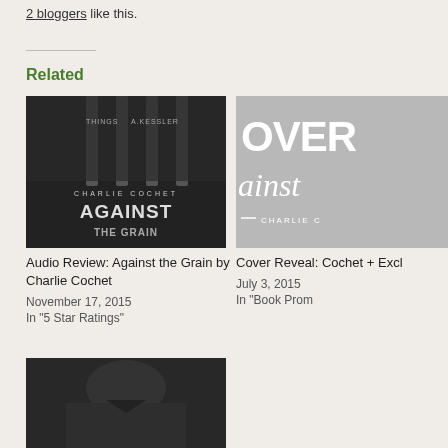2 bloggers like this.
Related
[Figure (photo): Book cover of 'Against the Grain' by Charlie Cochet, showing hands gripping vertical bars, dark monochrome image]
Audio Review: Against the Grain by Charlie Cochet
November 17, 2015
In "5 Star Ratings"
[Figure (photo): Partial book cover showing 'COVER' text and cursive 'Against' with 'CHARLIE C' author name, grey background]
Cover Reveal: Cochet + Excl
July 3, 2015
In "Book Prom
[Figure (photo): Partial book cover image at bottom, dark monochrome showing a figure in jacket]